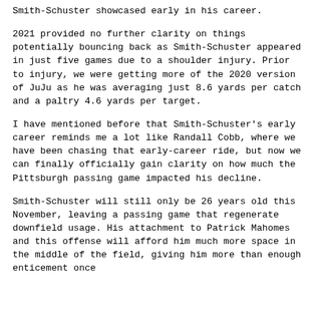Smith-Schuster showcased early in his career.
2021 provided no further clarity on things potentially bouncing back as Smith-Schuster appeared in just five games due to a shoulder injury. Prior to injury, we were getting more of the 2020 version of JuJu as he was averaging just 8.6 yards per catch and a paltry 4.6 yards per target.
I have mentioned before that Smith-Schuster's early career reminds me a lot like Randall Cobb, where we have been chasing that early-career ride, but now we can finally officially gain clarity on how much the Pittsburgh passing game impacted his decline.
Smith-Schuster will still only be 26 years old this November, leaving a passing game that regenerate downfield usage. His attachment to Patrick Mahomes and this offense will afford him much more space in the middle of the field, giving him more than enough enticement once